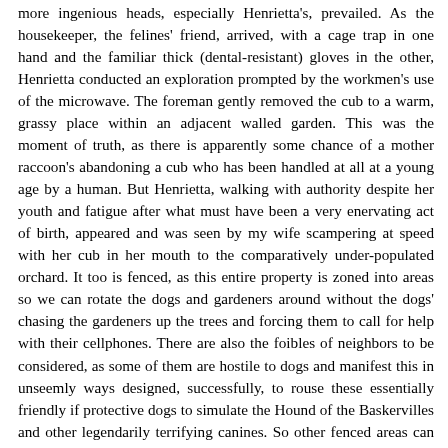more ingenious heads, especially Henrietta's, prevailed. As the housekeeper, the felines' friend, arrived, with a cage trap in one hand and the familiar thick (dental-resistant) gloves in the other, Henrietta conducted an exploration prompted by the workmen's use of the microwave. The foreman gently removed the cub to a warm, grassy place within an adjacent walled garden. This was the moment of truth, as there is apparently some chance of a mother raccoon's abandoning a cub who has been handled at all at a young age by a human. But Henrietta, walking with authority despite her youth and fatigue after what must have been a very enervating act of birth, appeared and was seen by my wife scampering at speed with her cub in her mouth to the comparatively under-populated orchard. It too is fenced, as this entire property is zoned into areas so we can rotate the dogs and gardeners around without the dogs' chasing the gardeners up the trees and forcing them to call for help with their cellphones. There are also the foibles of neighbors to be considered, as some of them are hostile to dogs and manifest this in unseemly ways designed, successfully, to rouse these essentially friendly if protective dogs to simulate the Hound of the Baskervilles and other legendarily terrifying canines. So other fenced areas can provide buffer zones, cordons sanitaires, with neighbors. Henrietta puzzled the system out with great acuity, and she moves between zones with her little passenger; she sometimes returns, when the coast is clear, to the two warmer places, in the roof and on the balcony, that, by her talents as an explorer, she discovered for herself. There have now